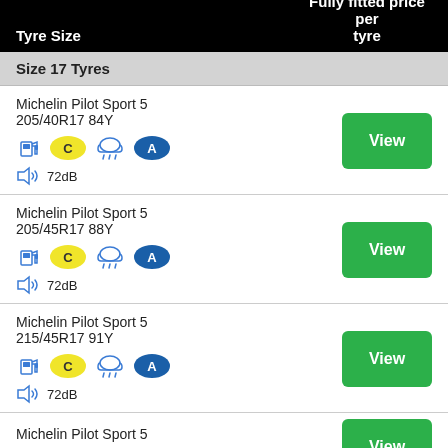| Tyre Size | Fully fitted price per tyre |
| --- | --- |
| Michelin Pilot Sport 5 205/40R17 84Y | C | rain | A | 72dB | View |
| Michelin Pilot Sport 5 205/45R17 88Y | C | rain | A | 72dB | View |
| Michelin Pilot Sport 5 215/45R17 91Y | C | rain | A | 72dB | View |
| Michelin Pilot Sport 5 ... | View |